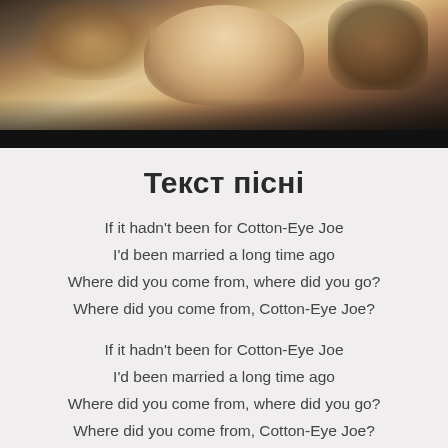[Figure (photo): Photo of a blonde woman in a dark setting, partially cropped at top]
Текст пісні
If it hadn't been for Cotton-Eye Joe
I'd been married a long time ago
Where did you come from, where did you go?
Where did you come from, Cotton-Eye Joe?
If it hadn't been for Cotton-Eye Joe
I'd been married a long time ago
Where did you come from, where did you go?
Where did you come from, Cotton-Eye Joe?
If it hadn't been for Cotton-Eye Joe
I'd been married a long time ago